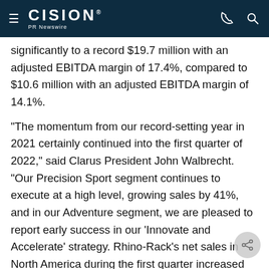CISION PR Newswire
significantly to a record $19.7 million with an adjusted EBITDA margin of 17.4%, compared to $10.6 million with an adjusted EBITDA margin of 14.1%.
"The momentum from our record-setting year in 2021 certainly continued into the first quarter of 2022," said Clarus President John Walbrecht. "Our Precision Sport segment continues to execute at a high level, growing sales by 41%, and in our Adventure segment, we are pleased to report early success in our 'Innovate and Accelerate' strategy. Rhino-Rack's net sales in North America during the first quarter increased 42%, an early proof point of the substantial white space that we believe exists for our Adventure brands in this